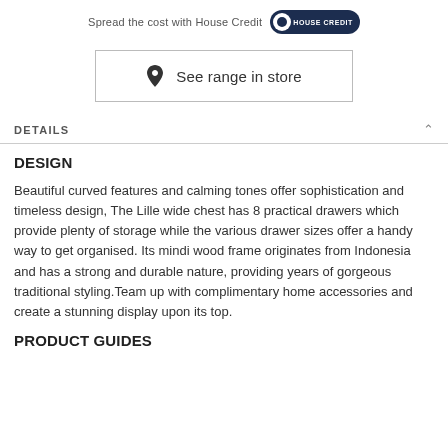Spread the cost with House Credit [HOUSE CREDIT logo]
[Figure (other): See range in store button with map pin icon]
DETAILS
DESIGN
Beautiful curved features and calming tones offer sophistication and timeless design, The Lille wide chest has 8 practical drawers which provide plenty of storage while the various drawer sizes offer a handy way to get organised. Its mindi wood frame originates from Indonesia and has a strong and durable nature, providing years of gorgeous traditional styling.Team up with complimentary home accessories and create a stunning display upon its top.
PRODUCT GUIDES